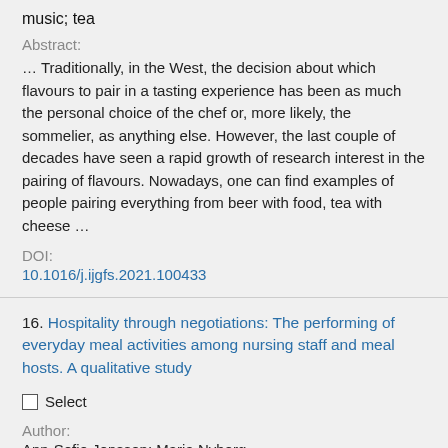music; tea
Abstract:
… Traditionally, in the West, the decision about which flavours to pair in a tasting experience has been as much the personal choice of the chef or, more likely, the sommelier, as anything else. However, the last couple of decades have seen a rapid growth of research interest in the pairing of flavours. Nowadays, one can find examples of people pairing everything from beer with food, tea with cheese …
DOI:
10.1016/j.ijgfs.2021.100433
16. Hospitality through negotiations: The performing of everyday meal activities among nursing staff and meal hosts. A qualitative study
Select
Author:
Ann-Sofie Jonsson; Maria Nyberg